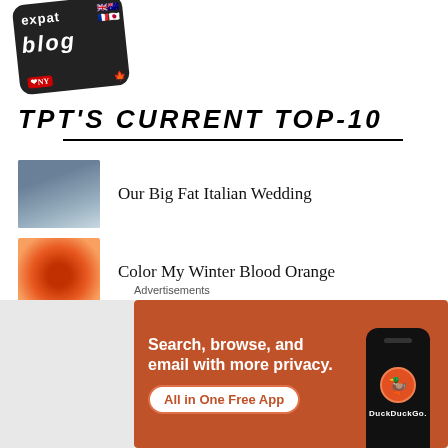[Figure (logo): Expat Blog logo sticker with flags and 'I Love NY' badge]
TPT'S CURRENT TOP-10
Our Big Fat Italian Wedding
Color My Winter Blood Orange
Vitello Tonnato: Italy's Summertime Surf 'n Turf
Who is The Palladian Traveler?
Advertisements
[Figure (illustration): DuckDuckGo advertisement banner: Search, browse, and email with more privacy. All in One Free App. Shows phone with DuckDuckGo logo.]